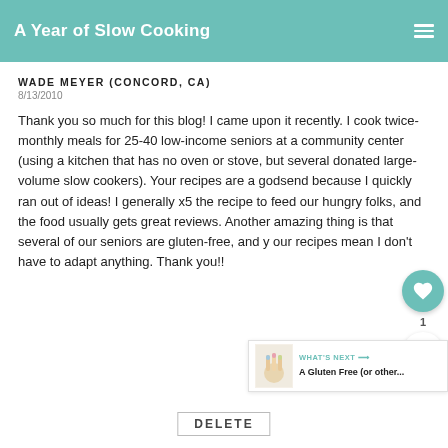A Year of Slow Cooking
WADE MEYER (CONCORD, CA)
8/13/2010
Thank you so much for this blog! I came upon it recently. I cook twice-monthly meals for 25-40 low-income seniors at a community center (using a kitchen that has no oven or stove, but several donated large-volume slow cookers). Your recipes are a godsend because I quickly ran out of ideas! I generally x5 the recipe to feed our hungry folks, and the food usually gets great reviews. Another amazing thing is that several of our seniors are gluten-free, and your recipes mean I don't have to adapt anything. Thank you!!
DELETE